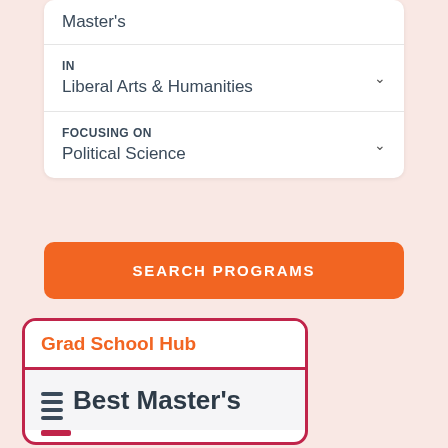Master's
IN
Liberal Arts & Humanities
FOCUSING ON
Political Science
SEARCH PROGRAMS
Grad School Hub
Best Master's